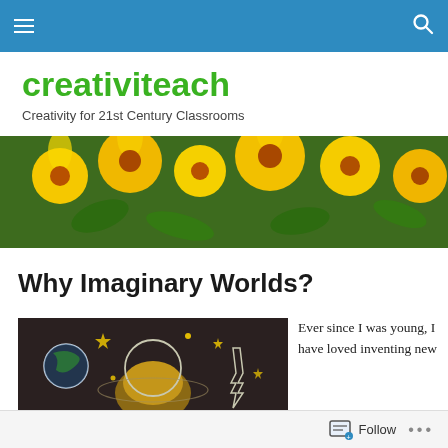Navigation bar with hamburger menu and search icon
creativiteach
Creativity for 21st Century Classrooms
[Figure (photo): Banner photo of bright yellow marigold flowers with green foliage]
Why Imaginary Worlds?
[Figure (photo): Child lying on chalkboard with drawn space illustrations including Earth, stars, and a rocket]
Ever since I was young, I have loved inventing new
Follow